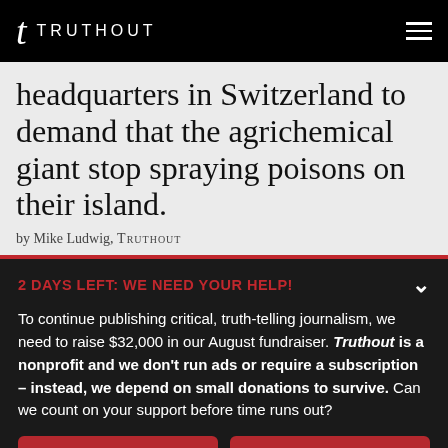TRUTHOUT
headquarters in Switzerland to demand that the agrichemical giant stop spraying poisons on their island.
by Mike Ludwig, TRUTHOUT
2 DAYS LEFT: WE NEED YOUR HELP!
To continue publishing critical, truth-telling journalism, we need to raise $32,000 in our August fundraiser. Truthout is a nonprofit and we don't run ads or require a subscription – instead, we depend on small donations to survive. Can we count on your support before time runs out?
DONATE
DONATE MONTHLY